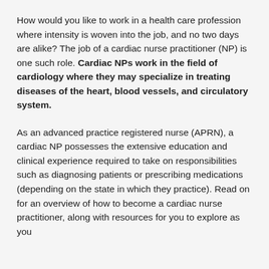How would you like to work in a health care profession where intensity is woven into the job, and no two days are alike? The job of a cardiac nurse practitioner (NP) is one such role. Cardiac NPs work in the field of cardiology where they may specialize in treating diseases of the heart, blood vessels, and circulatory system.
As an advanced practice registered nurse (APRN), a cardiac NP possesses the extensive education and clinical experience required to take on responsibilities such as diagnosing patients or prescribing medications (depending on the state in which they practice). Read on for an overview of how to become a cardiac nurse practitioner, along with resources for you to explore as you